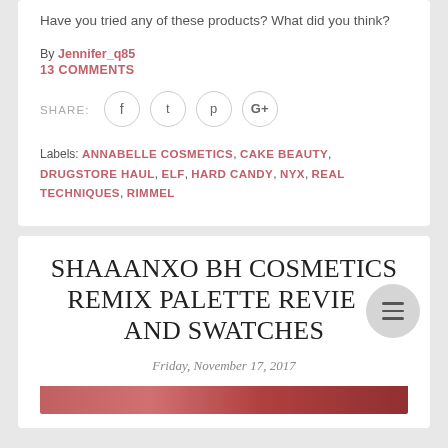Have you tried any of these products? What did you think?
By Jennifer_q85
13 COMMENTS
SHARE:
Labels: ANNABELLE COSMETICS, CAKE BEAUTY, DRUGSTORE HAUL, ELF, HARD CANDY, NYX, REAL TECHNIQUES, RIMMEL
SHAAANXO BH COSMETICS REMIX PALETTE REVIEW AND SWATCHES
Friday, November 17, 2017